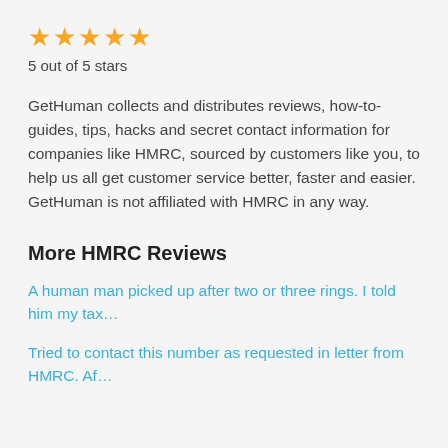[Figure (other): Five gold star icons representing a 5-star rating]
5 out of 5 stars
GetHuman collects and distributes reviews, how-to-guides, tips, hacks and secret contact information for companies like HMRC, sourced by customers like you, to help us all get customer service better, faster and easier. GetHuman is not affiliated with HMRC in any way.
More HMRC Reviews
A human man picked up after two or three rings. I told him my tax…
Tried to contact this number as requested in letter from HMRC. Af…